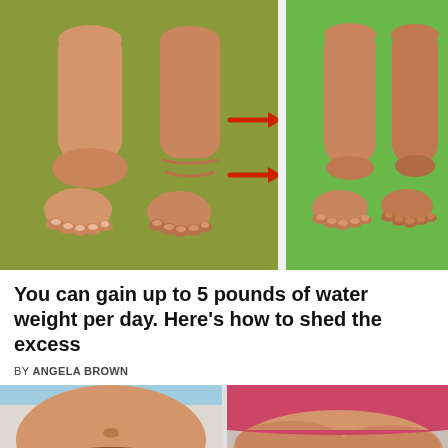[Figure (illustration): Illustration showing swollen ankles and feet (before) on the left side with two red arrows pointing right, and slimmer/normal ankles and feet (after) on the right side against a green background. A 'before/after' comparison of water retention in legs.]
You can gain up to 5 pounds of water weight per day. Here's how to shed the excess
BY ANGELA BROWN
[Figure (illustration): Two side-by-side illustrations showing bloated/distended abdomens — the left shows a stomach with visible bloating anatomy in a light blue garment, and the right shows a torso in a pink/red garment with excess fat at the waist.]